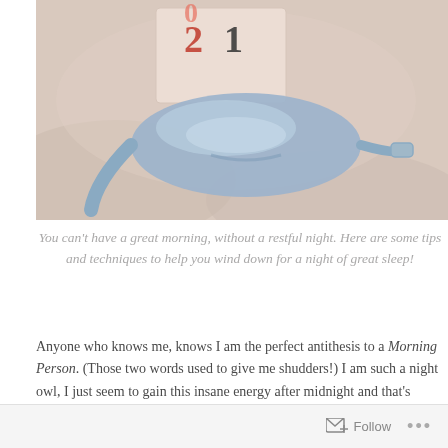[Figure (photo): A blue satin sleep mask resting on white linen fabric next to a box or book showing the number 21, photographed from above in soft warm light.]
You can't have a great morning, without a restful night. Here are some tips and techniques to help you wind down for a night of great sleep!
Anyone who knows me, knows I am the perfect antithesis to a Morning Person. (Those two words used to give me shudders!) I am such a night owl, I just seem to gain this insane energy after midnight and that's when I get some of my best ideas and inspiration.
Follow ...